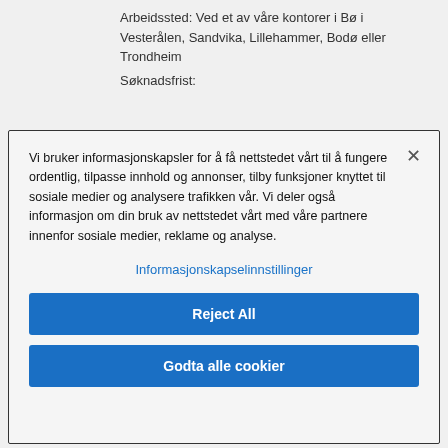Arbeidssted: Ved et av våre kontorer i Bø i Vesterålen, Sandvika, Lillehammer, Bodø eller Trondheim
Søknadsfrist:
Vi bruker informasjonskapsler for å få nettstedet vårt til å fungere ordentlig, tilpasse innhold og annonser, tilby funksjoner knyttet til sosiale medier og analysere trafikken vår. Vi deler også informasjon om din bruk av nettstedet vårt med våre partnere innenfor sosiale medier, reklame og analyse.
Informasjonskapselinnstillinger
Reject All
Godta alle cookier